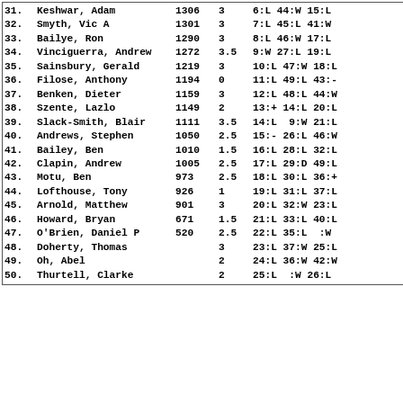| # | Name | Rating | Pts | Rounds |
| --- | --- | --- | --- | --- |
| 31. | Keshwar, Adam | 1306 | 3 | 6:L 44:W 15:L |
| 32. | Smyth, Vic A | 1301 | 3 | 7:L 45:L 41:W |
| 33. | Bailye, Ron | 1290 | 3 | 8:L 46:W 17:L |
| 34. | Vinciguerra, Andrew | 1272 | 3.5 | 9:W 27:L 19:L |
| 35. | Sainsbury, Gerald | 1219 | 3 | 10:L 47:W 18:L |
| 36. | Filose, Anthony | 1194 | 0 | 11:L 49:L 43:- |
| 37. | Benken, Dieter | 1159 | 3 | 12:L 48:L 44:W |
| 38. | Szente, Lazlo | 1149 | 2 | 13:+ 14:L 20:L |
| 39. | Slack-Smith, Blair | 1111 | 3.5 | 14:L  9:W 21:L |
| 40. | Andrews, Stephen | 1050 | 2.5 | 15:-  26:L 46:W |
| 41. | Bailey, Ben | 1010 | 1.5 | 16:L 28:L 32:L |
| 42. | Clapin, Andrew | 1005 | 2.5 | 17:L 29:D 49:L |
| 43. | Motu, Ben | 973 | 2.5 | 18:L 30:L 36:+ |
| 44. | Lofthouse, Tony | 926 | 1 | 19:L 31:L 37:L |
| 45. | Arnold, Matthew | 901 | 3 | 20:L 32:W 23:L |
| 46. | Howard, Bryan | 671 | 1.5 | 21:L 33:L 40:L |
| 47. | O'Brien, Daniel P | 520 | 2.5 | 22:L 35:L   :W |
| 48. | Doherty, Thomas |  | 3 | 23:L 37:W 25:L |
| 49. | Oh, Abel |  | 2 | 24:L 36:W 42:W |
| 50. | Thurtell, Clarke |  | 2 | 25:L   :W 26:L |